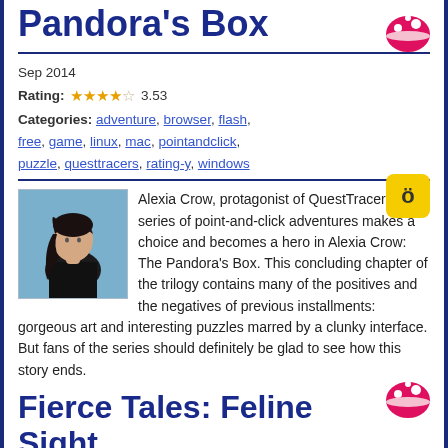Pandora's Box
Sep 2014
Rating: 3.53
Categories: adventure, browser, flash, free, game, linux, mac, pointandclick, puzzle, questtracers, rating-y, windows
Alexia Crow, protagonist of QuestTracers' series of point-and-click adventures makes a choice and becomes a hero in Alexia Crow: The Pandora's Box. This concluding chapter of the trilogy contains many of the positives and the negatives of previous installments: gorgeous art and interesting puzzles marred by a clunky interface. But fans of the series should definitely be glad to see how this story ends.
Fierce Tales: Feline Sight
Sep 2014
Rating: (not enough votes yet)
Categories: adventure, affiliate, blam